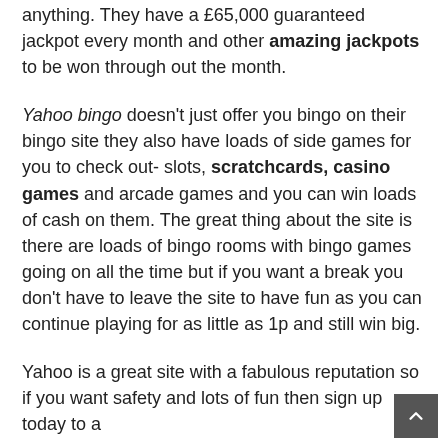anything. They have a £65,000 guaranteed jackpot every month and other amazing jackpots to be won through out the month.
Yahoo bingo doesn't just offer you bingo on their bingo site they also have loads of side games for you to check out- slots, scratchcards, casino games and arcade games and you can win loads of cash on them. The great thing about the site is there are loads of bingo rooms with bingo games going on all the time but if you want a break you don't have to leave the site to have fun as you can continue playing for as little as 1p and still win big.
Yahoo is a great site with a fabulous reputation so if you want safety and lots of fun then sign up today to a...